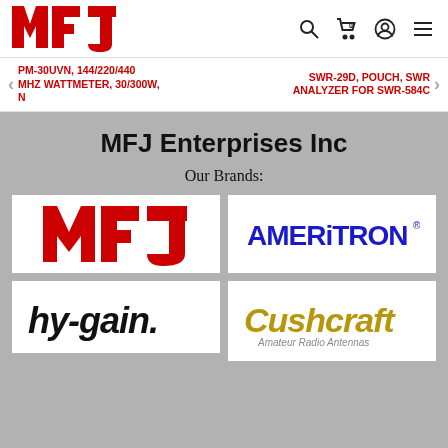[Figure (logo): MFJ red block letter logo in header]
Navigation icons: search, cart (0), account, menu
< PM-30UVN, 144/220/440 MHZ WATTMETER, 30/300W, N
SWR-29D, POUCH, SWR ANALYZER FOR SWR-584C >
MFJ Enterprises Inc
Our Brands:
[Figure (logo): MFJ red block letter logo brand tile]
[Figure (logo): AMERITRON blue text logo brand tile]
[Figure (logo): hy-gain black italic logo brand tile]
[Figure (logo): Cushcraft gold text logo brand tile]